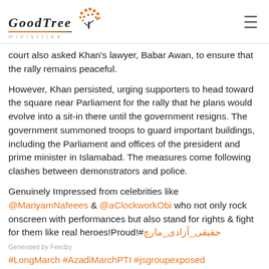GoodTree ministries
court also asked Khan's lawyer, Babar Awan, to ensure that the rally remains peaceful.
However, Khan persisted, urging supporters to head toward the square near Parliament for the rally that he plans would evolve into a sit-in there until the government resigns. The government summoned troops to guard important buildings, including the Parliament and offices of the president and prime minister in Islamabad. The measures come following clashes between demonstrators and police.
Genuinely Impressed from celebrities like @MariyamNafeees & @aClockworkObi who not only rock onscreen with performances but also stand for rights & fight for them like real heroes!Proud!#حقیقی_آزادی_مارچ #LongMarch #AzadiMarchPTI #jsgroupexposed Generated by Feedzy